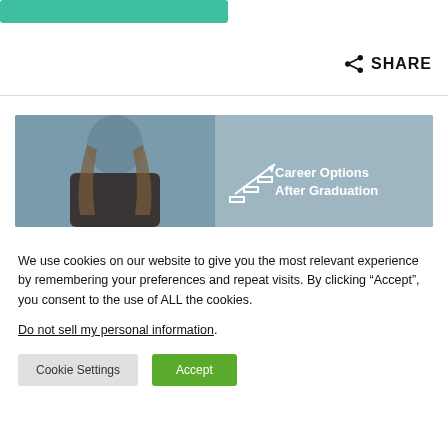[Figure (other): Green button at top of page]
SHARE
[Figure (photo): Banner image showing a woman working on a laptop with text 'Career Options After Graduation' and a staircase/arrow icon overlay on a grey background]
We use cookies on our website to give you the most relevant experience by remembering your preferences and repeat visits. By clicking “Accept”, you consent to the use of ALL the cookies.
Do not sell my personal information.
Cookie Settings
Accept